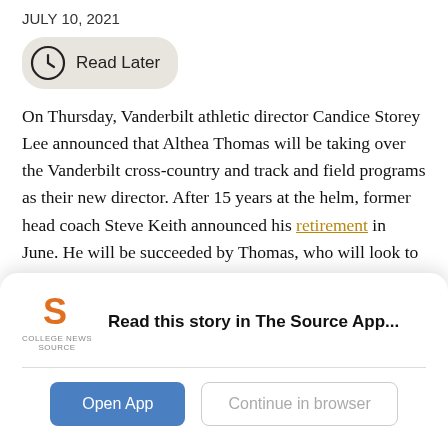JULY 10, 2021
[Figure (other): Read Later button with clock icon]
On Thursday, Vanderbilt athletic director Candice Storey Lee announced that Althea Thomas will be taking over the Vanderbilt cross-country and track and field programs as their new director. After 15 years at the helm, former head coach Steve Keith announced his retirement in June. He will be succeeded by Thomas, who will look to revitalize a program that has never sat atop the SEC standings.
“I’m really excited with the opportunity to help the program grow,” Thomas told The Hustler in an exclusive interview.
[Figure (logo): College News Source logo with S icon and text]
Read this story in The Source App...
Open App | Continue in browser